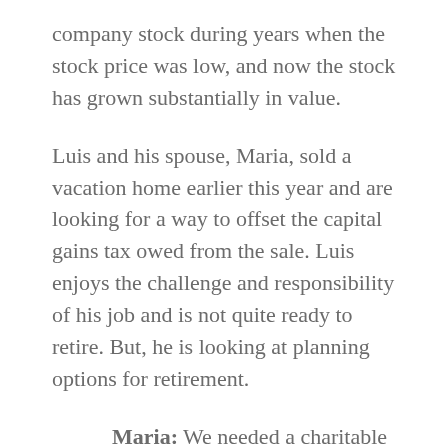company stock during years when the stock price was low, and now the stock has grown substantially in value.
Luis and his spouse, Maria, sold a vacation home earlier this year and are looking for a way to offset the capital gains tax owed from the sale. Luis enjoys the challenge and responsibility of his job and is not quite ready to retire. But, he is looking at planning options for retirement.
Maria: We needed a charitable deduction to avoid paying the taxes we owed from the sale of our second